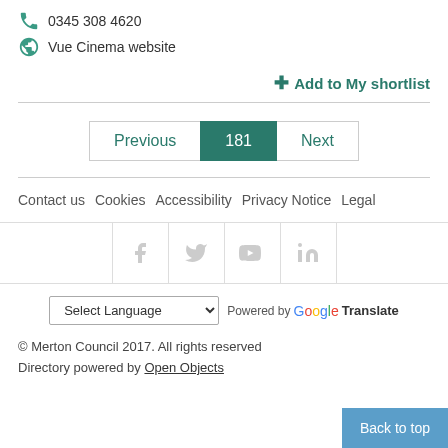0345 308 4620
Vue Cinema website
+ Add to My shortlist
Previous  181  Next
Contact us  Cookies  Accessibility  Privacy Notice  Legal
[Figure (other): Social media icons: Facebook, Twitter, YouTube, LinkedIn]
Select Language  Powered by Google Translate
© Merton Council 2017. All rights reserved
Directory powered by Open Objects
Back to top